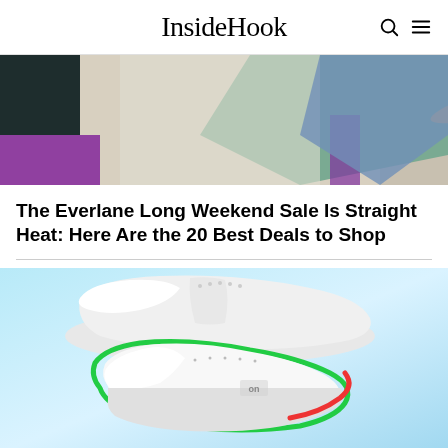InsideHook
[Figure (photo): Top portion of a styled fashion/apparel photo with colorful geometric background in teal, purple, and cream tones showing clothing items]
The Everlane Long Weekend Sale Is Straight Heat: Here Are the 20 Best Deals to Shop
[Figure (photo): White sneakers on a light blue background, with one sneaker outlined in green and another in red, featuring the 'On' brand logo]